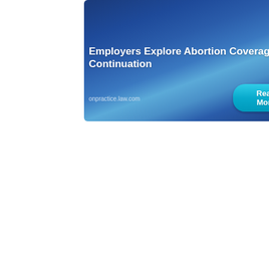[Figure (illustration): Dark blue gradient banner advertisement for onpractice.law.com featuring the headline 'Employers Explore Abortion Coverage Continuation' with a cyan 'Read More' button in the bottom right corner and the URL 'onpractice.law.com' in the bottom left.]